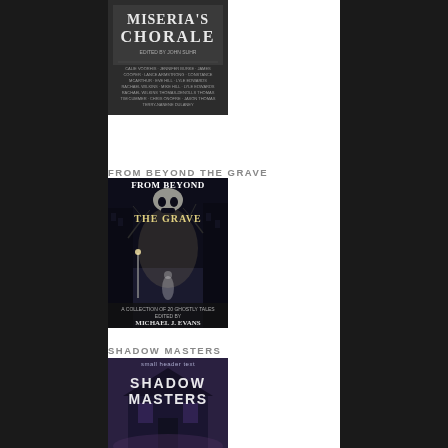[Figure (illustration): Book cover of Miseria's Chorale - dark cover with gothic title text, partially cropped at top of page]
FROM BEYOND THE GRAVE
[Figure (illustration): Book cover of From Beyond the Grave - dark gothic image of foggy street with skull and ghostly figure, edited by Michael J. Evans, A Collection of 20 Ghostly Tales]
SHADOW MASTERS
[Figure (illustration): Book cover of Shadow Masters - purple-toned image of a house with bold title text]